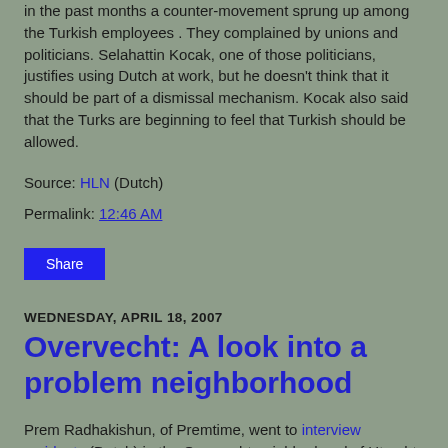in the past months a counter-movement sprung up among the Turkish employees . They complained by unions and politicians. Selahattin Kocak, one of those politicians, justifies using Dutch at work, but he doesn't think that it should be part of a dismissal mechanism. Kocak also said that the Turks are beginning to feel that Turkish should be allowed.
Source: HLN (Dutch)
Permalink: 12:46 AM
Share
WEDNESDAY, APRIL 18, 2007
Overvecht: A look into a problem neighborhood
Prem Radhakishun, of Premtime, went to interview residents (Dutch) in the Overvecht neighborhood of Utrecht. Overvecht has recently hit the news due to the young age of the